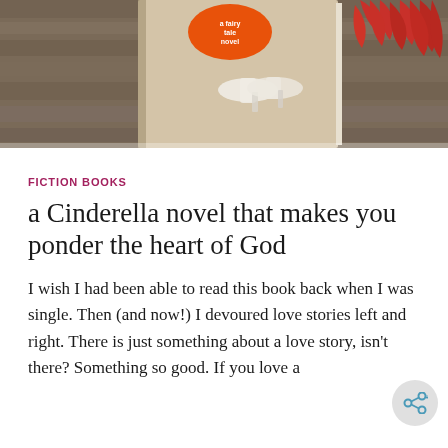[Figure (photo): Photo of a book with a Cinderella-style cover (featuring white heels and red leaf decorations) propped on a wooden surface, viewed from above.]
FICTION BOOKS
a Cinderella novel that makes you ponder the heart of God
I wish I had been able to read this book back when I was single. Then (and now!) I devoured love stories left and right. There is just something about a love story, isn't there? Something so good. If you love a ...